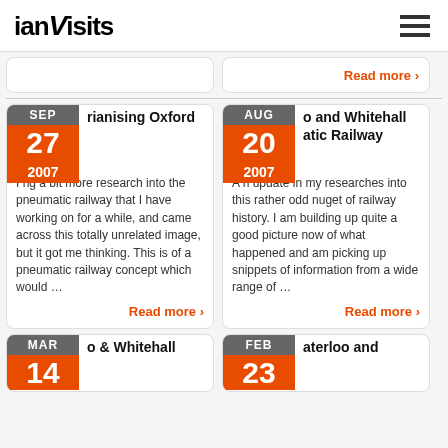ianVisits
Read more ›
Read more ›
SEP 27 2007 rianising Oxford
I ng a bit more research into the pneumatic railway that I have working on for a while, and came across this totally unrelated image, but it got me thinking. This is of a pneumatic railway concept which would …
Read more ›
AUG 20 2007 o and Whitehall atic Railway
A n update in my researches into this rather odd nuget of railway history. I am building up quite a good picture now of what happened and am picking up snippets of information from a wide range of …
Read more ›
MAR 14 o & Whitehall
FEB 23 aterloo and